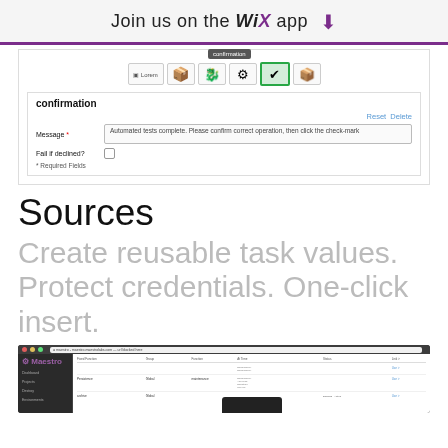Join us on the WiX app ⬇
[Figure (screenshot): Screenshot of a task automation UI showing a confirmation step with icon strip including a tooltip labeled 'confirmation', a checkmark icon highlighted, and a form with Message field and Fail if declined checkbox]
confirmation
Reset  Delete
Message *: Automated tests complete. Please confirm correct operation, then click the check-mark
Fail if declined?
* Required Fields
Sources
Create reusable task values. Protect credentials. One-click insert.
[Figure (screenshot): Screenshot of the Maestro automation tool interface showing a dark sidebar with navigation items (Dashboard, Projects, Destroy, Environments) and a main content area with a table of task sources]